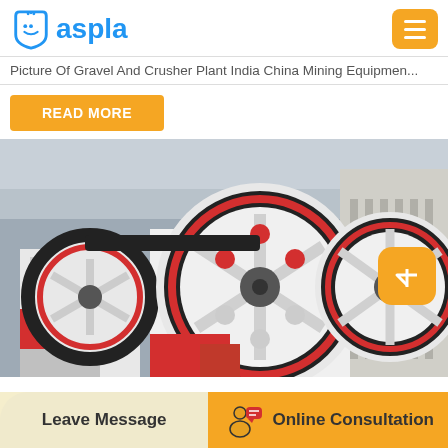aspla
Picture Of Gravel And Crusher Plant India China Mining Equipmen...
READ MORE
[Figure (photo): Industrial jaw crusher machine with large red and white flywheels/pulleys with black belts in a factory setting]
Leave Message
Online Consultation